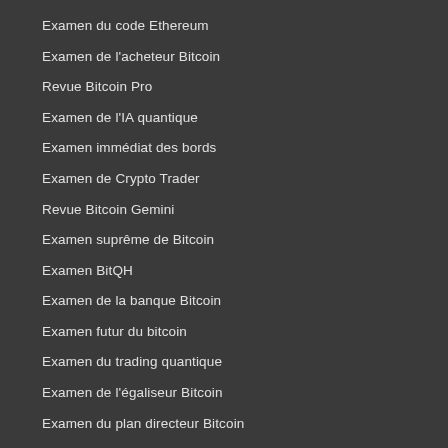Examen du code Ethereum
Examen de l'acheteur Bitcoin
Revue Bitcoin Pro
Examen de l'IA quantique
Examen immédiat des bords
Examen de Crypto Trader
Revue Bitcoin Gemini
Examen suprême de Bitcoin
Examen BitQH
Examen de la banque Bitcoin
Examen futur du bitcoin
Examen du trading quantique
Examen de l'égaliseur Bitcoin
Examen du plan directeur Bitcoin